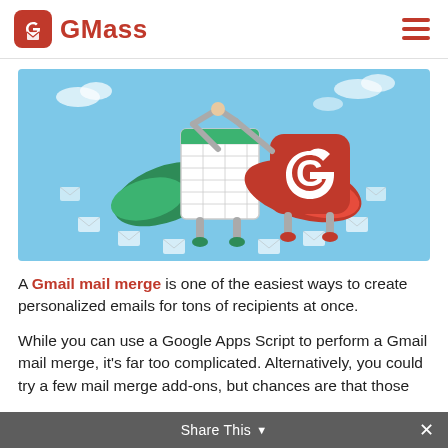GMass
[Figure (illustration): Illustrated hero image showing a personified spreadsheet character and a GMass app icon character with superhero capes, high-fiving over a circle of flying envelope icons, set against a light blue sky background with clouds.]
A Gmail mail merge is one of the easiest ways to create personalized emails for tons of recipients at once.
While you can use a Google Apps Script to perform a Gmail mail merge, it's far too complicated. Alternatively, you could try a few mail merge add-ons, but chances are that those